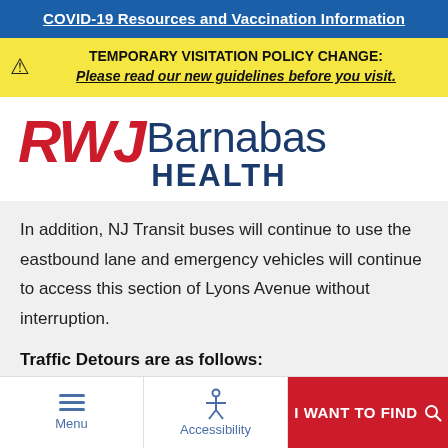COVID-19 Resources and Vaccination Information
TEMPORARY VISITATION POLICY CHANGE: Please read our new guidelines before you visit.
[Figure (logo): RWJBarnabas Health logo — RWJ in red italic, Barnabas in dark blue, HEALTH in dark blue bold]
In addition, NJ Transit buses will continue to use the eastbound lane and emergency vehicles will continue to access this section of Lyons Avenue without interruption.
Traffic Detours are as follows:
Menu | Accessibility | I WANT TO FIND